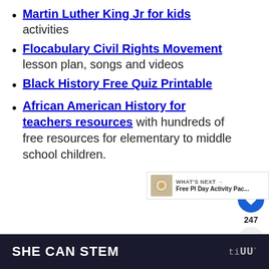Martin Luther King Jr for kids activities
Flocabulary Civil Rights Movement lesson plan, songs and videos
Black History Free Quiz Printable
African American History for teachers resources with hundreds of free resources for elementary to middle school children.
SHE CAN STEM